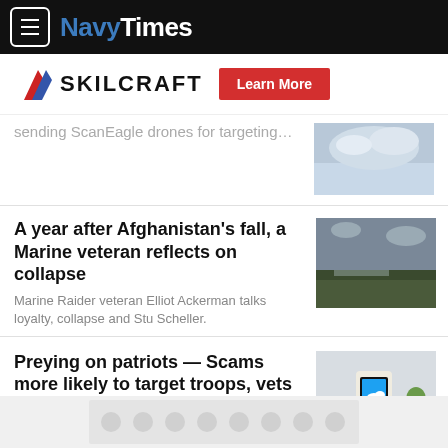NavyTimes
[Figure (logo): SKILCRAFT logo with Learn More button advertisement banner]
sending ScanEagle drones for targeting…
[Figure (photo): Helicopter over building, Afghanistan evacuation scene]
A year after Afghanistan's fall, a Marine veteran reflects on collapse
Marine Raider veteran Elliot Ackerman talks loyalty, collapse and Stu Scheller.
[Figure (photo): Person holding smartphone with Twitter/social media app]
Preying on patriots — Scams more likely to target troops, vets
A steady income and benefits, a desire to
[Figure (other): Bottom advertisement placeholder with circular pattern motif]